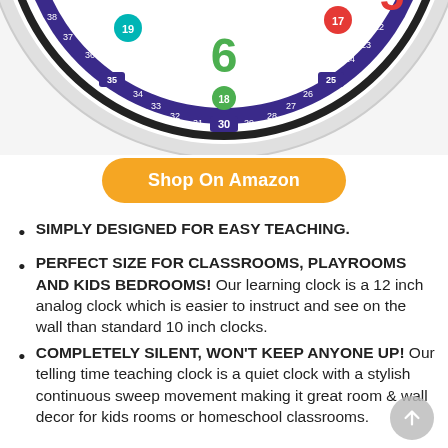[Figure (photo): Bottom portion of a children's learning clock showing colorful numbers around the clock face and minute markings on the outer ring]
Shop On Amazon
SIMPLY DESIGNED FOR EASY TEACHING.
PERFECT SIZE FOR CLASSROOMS, PLAYROOMS AND KIDS BEDROOMS! Our learning clock is a 12 inch analog clock which is easier to instruct and see on the wall than standard 10 inch clocks.
COMPLETELY SILENT, WON'T KEEP ANYONE UP! Our telling time teaching clock is a quiet clock with a stylish continuous sweep movement making it great room & wall decor for kids rooms or homeschool classrooms.